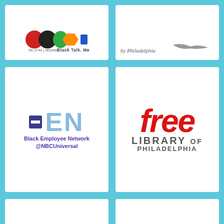[Figure (logo): Radio station logo (partial, cropped) - 96.1FM | 900AM, Black talk media]
[Figure (logo): Philadelphia organization logo (partial, cropped)]
[Figure (logo): BEN - Black Employee Network @NBCUniversal logo]
[Figure (logo): Free Library of Philadelphia logo]
[Figure (logo): The Brown Bookshelf - United In Story logo]
[Figure (logo): ParentChild+ Equal Possibilities From The Start logo]
[Figure (logo): City Council Philadelphia - Councilmember Katherine Gilmore Richardson logo]
[Figure (logo): City Council Philadelphia - Councilmember Curtis Jones, Jr. logo (partially obscured by reCAPTCHA)]